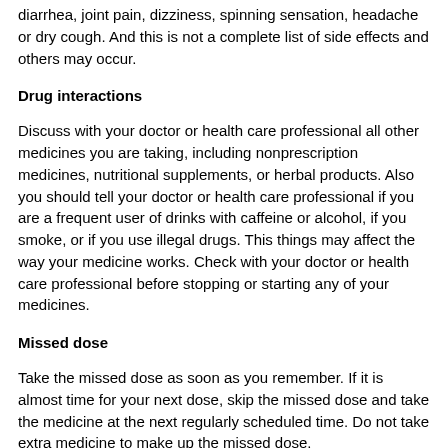diarrhea, joint pain, dizziness, spinning sensation, headache or dry cough. And this is not a complete list of side effects and others may occur.
Drug interactions
Discuss with your doctor or health care professional all other medicines you are taking, including nonprescription medicines, nutritional supplements, or herbal products. Also you should tell your doctor or health care professional if you are a frequent user of drinks with caffeine or alcohol, if you smoke, or if you use illegal drugs. This things may affect the way your medicine works. Check with your doctor or health care professional before stopping or starting any of your medicines.
Missed dose
Take the missed dose as soon as you remember. If it is almost time for your next dose, skip the missed dose and take the medicine at the next regularly scheduled time. Do not take extra medicine to make up the missed dose.
Overdose
Seek emergency medical attention if you think you have used too much of this medicine. Overdose symptoms may include fast or slow heartbeat, feeling light-headed, or fainting.